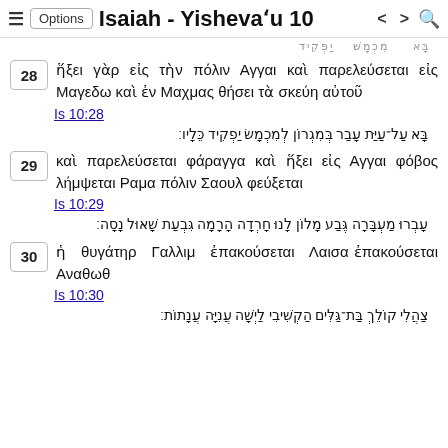≡ Options Isaiah - Yishevahu 10 < > 🔍
בָּא עַל־עַיַּת עָבַר בְּמִגְרוֹן לְמִכְמָשׂ יַפְקִיד כֵּלָיו׃
28 ἥξει γὰρ εἰς τὴν πόλιν Αγγαι καὶ παρελεύσεται εἰς Μαγεδω καὶ ἐν Μαχμας θήσει τὰ σκεύη αὐτοῦ
Is 10:28
בָּא עַל־עַיַּת עָבַר בְּמִגְרוֹן לְמִכְמָשׂ יַפְקִיד כֵּלָיו׃
29 καὶ παρελεύσεται φάραγγα καὶ ἥξει εἰς Αγγαι φόβος λήμψεται Ραμα πόλιν Σαουλ φεύξεται
Is 10:29
עָבְרוּ מַעְבָּרָה גֶּבַע מָלוֹן לָנוּ חָרְדָה הָרָמָה גִּבְעַת שָׁאוּל נָסָה׃
30 ἡ θυγάτηρ Γαλλιμ ἐπακούσεται Λαισα ἐπακούσεται Αναθωθ
Is 10:30
צַהֲלִי קוֹלֵךְ בַּת־גַּלִּים הַקְשִׁיבִי לַיְשָׁה עֲנִיָּה עֲנָתוֹת׃